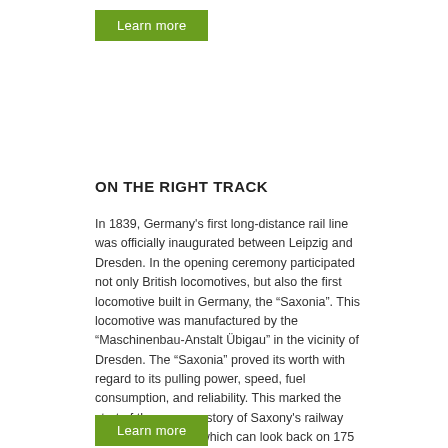[Figure (other): Green 'Learn more' button at top]
ON THE RIGHT TRACK
In 1839, Germany's first long-distance rail line was officially inaugurated between Leipzig and Dresden. In the opening ceremony participated not only British locomotives, but also the first locomotive built in Germany, the “Saxonia”. This locomotive was manufactured by the “Maschinenbau-Anstalt Übigau” in the vicinity of Dresden. The “Saxonia” proved its worth with regard to its pulling power, speed, fuel consumption, and reliability. This marked the start of the success story of Saxony's railway technology branch which can look back on 175 years of history today.
[Figure (other): Green 'Learn more' button at bottom]